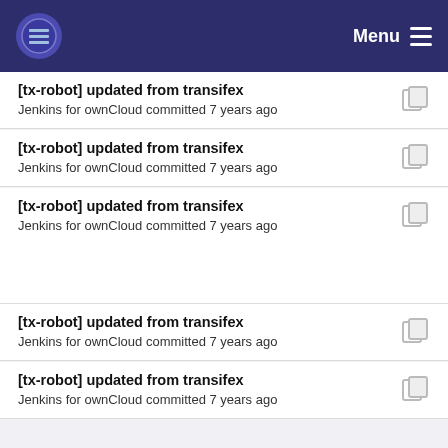Menu
[tx-robot] updated from transifex
Jenkins for ownCloud committed 7 years ago
[tx-robot] updated from transifex
Jenkins for ownCloud committed 7 years ago
[tx-robot] updated from transifex
Jenkins for ownCloud committed 7 years ago
[tx-robot] updated from transifex
Jenkins for ownCloud committed 7 years ago
[tx-robot] updated from transifex
Jenkins for ownCloud committed 7 years ago